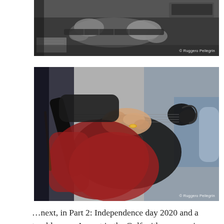[Figure (photo): Black and white close-up photograph of hands playing a string instrument (guitar/lute), with sheet music visible. Watermark: © Ruggero Pellegrin]
[Figure (photo): Color close-up photograph of a person in a red top playing a black violin, hand with a gold ring visible on the strings near the scroll. Blurred warm background. Watermark: © Ruggero Pellegrin]
…next, in Part 2: Independence day 2020 and a troublesome August in the Gulf with some serious